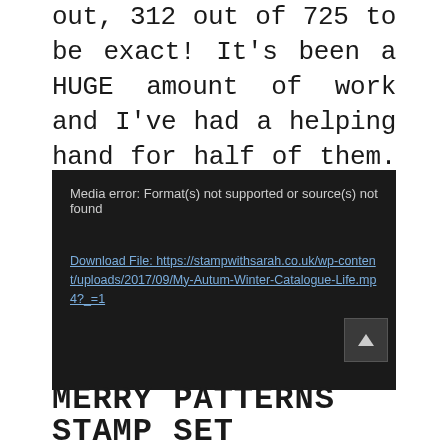out, 312 out of 725 to be exact! It's been a HUGE amount of work and I've had a helping hand for half of them. The last lot of catalogues left this week. I love my job and all of you, I can't wait for you to get yours!
[Figure (screenshot): Media player error box with dark background showing 'Media error: Format(s) not supported or source(s) not found' and a download link. A scroll-to-top button is visible in the bottom right corner.]
MERRY PATTERNS STAMP SET